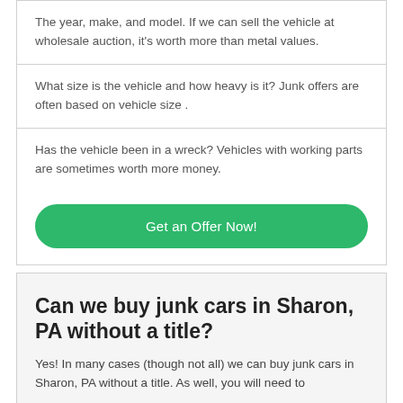The year, make, and model. If we can sell the vehicle at wholesale auction, it's worth more than metal values.
What size is the vehicle and how heavy is it? Junk offers are often based on vehicle size .
Has the vehicle been in a wreck? Vehicles with working parts are sometimes worth more money.
Get an Offer Now!
Can we buy junk cars in Sharon, PA without a title?
Yes! In many cases (though not all) we can buy junk cars in Sharon, PA without a title. As well, you will need to